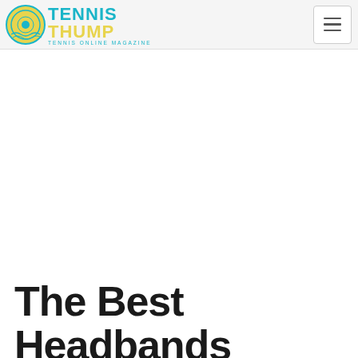TENNIS THUMP - TENNIS ONLINE MAGAZINE
The Best Headbands in Tennis